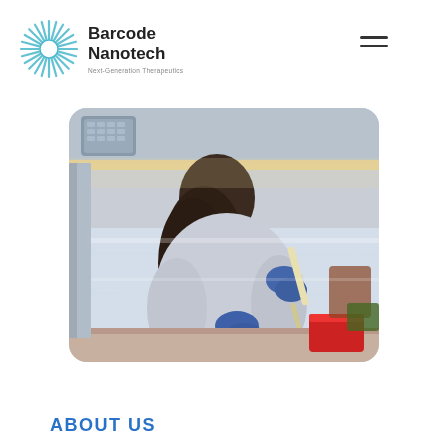Barcode Nanotech
Next-Generation Therapeutics
[Figure (photo): A female scientist in a white lab coat and blue gloves works at a biosafety cabinet, using a pipette to transfer liquid. The laminar flow hood is stainless steel with a clear shield. Red lab containers are visible in the foreground.]
ABOUT US